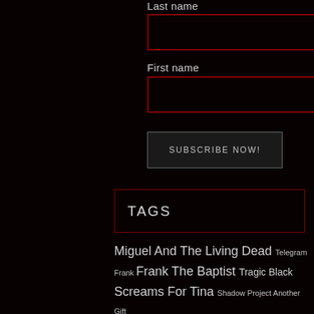Last name
[Figure (other): Empty input field with dark red border for Last name]
First name
[Figure (other): Empty input field with dark red border for First name]
SUBSCRIBE NOW!
TAGS
Miguel And The Living Dead Telegram Frank Frank The Baptist Tragic Black Screams For Tina Shadow Project Another Gift From Goth Neva Red Temple Spirits Voodoo